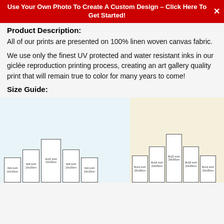Use Your Own Photo To Create A Custom Design – Click Here To Get Started!
Product Description:
All of our prints are presented on 100% linen woven canvas fabric.
We use only the finest UV protected and water resistant inks in our giclée reproduction printing process, creating an art gallery quality print that will remain true to color for many years to come!
Size Guide:
[Figure (illustration): Size guide showing portrait format canvas print size comparisons: left panel (light blue) shows 5 frames — 4x6inch/10x15cm, 4x8inch/10x20cm, 4x10inch/10x25cm, 4x8inch/10x20cm, 4x6inch/10x15cm; right panel (cream) shows 5 frames — 8x14inch/20x35cm, 8x18inch/20x45cm, 8x22inch/20x55cm, 8x18inch/20x45cm, 8x14inch/20x35cm]